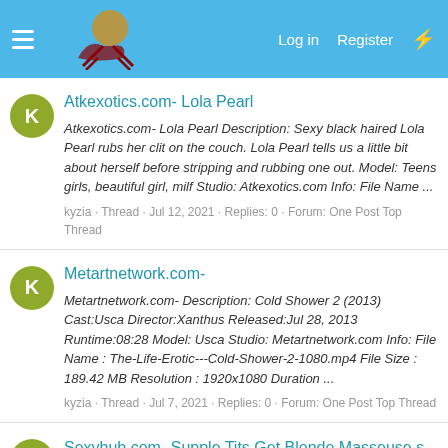Log in  Register
Atkexotics.com- Lola Pearl
Atkexotics.com- Lola Pearl Description: Sexy black haired Lola Pearl rubs her clit on the couch. Lola Pearl tells us a little bit about herself before stripping and rubbing one out. Model: Teens girls, beautiful girl, milf Studio: Atkexotics.com Info: File Name ...
kyzia · Thread · Jul 12, 2021 · Replies: 0 · Forum: One Post Top Thread
Metartnetwork.com-
Metartnetwork.com- Description: Cold Shower 2 (2013) Cast:Usca Director:Xanthus Released:Jul 28, 2013 Runtime:08:28 Model: Usca Studio: Metartnetwork.com Info: File Name : The-Life-Erotic---Cold-Shower-2-1080.mp4 File Size : 189.42 MB Resolution : 1920x1080 Duration ...
kyzia · Thread · Jul 7, 2021 · Replies: 0 · Forum: One Post Top Thread
Sexyhub.com- Supple Tits Get Blonde Masseuse s Full Attention